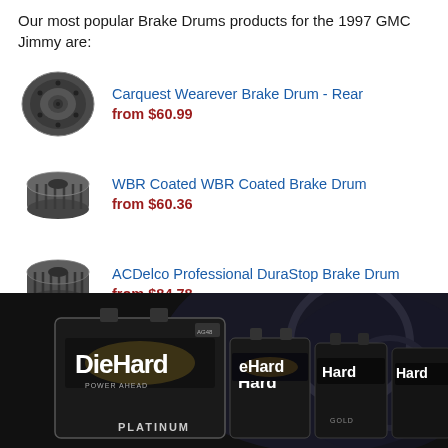Our most popular Brake Drums products for the 1997 GMC Jimmy are:
Carquest Wearever Brake Drum - Rear
from $60.99
WBR Coated WBR Coated Brake Drum
from $60.36
ACDelco Professional DuraStop Brake Drum
from $84.78
[Figure (photo): DieHard battery advertisement banner showing multiple DieHard battery products (Platinum, Gold series) on dark background]